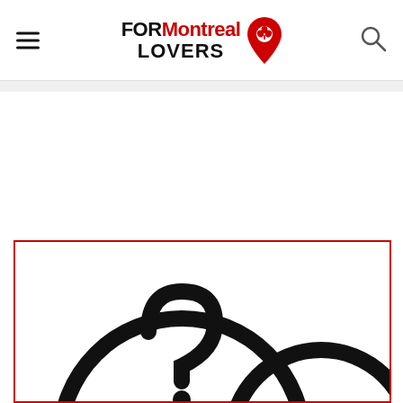FORMontreal LOVERS
[Figure (illustration): A circular icon containing a question mark symbol, partially visible, inside a red-bordered box. This appears to be a placeholder or FAQ image from the FORMontreal Lovers website.]